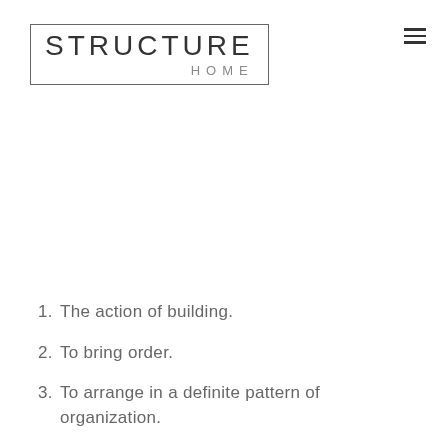[Figure (logo): Structure Home logo — the word STRUCTURE in large spaced letters above HOME in smaller spaced letters, enclosed in a rectangular border]
1. The action of building.
2. To bring order.
3. To arrange in a definite pattern of organization.